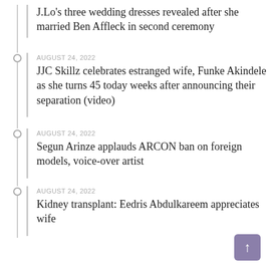J.Lo’s three wedding dresses revealed after she married Ben Affleck in second ceremony
AUGUST 24, 2022 — JJC Skillz celebrates estranged wife, Funke Akindele as she turns 45 today weeks after announcing their separation (video)
AUGUST 24, 2022 — Segun Arinze applauds ARCON ban on foreign models, voice-over artist
AUGUST 24, 2022 — Kidney transplant: Eedris Abdulkareem appreciates wife